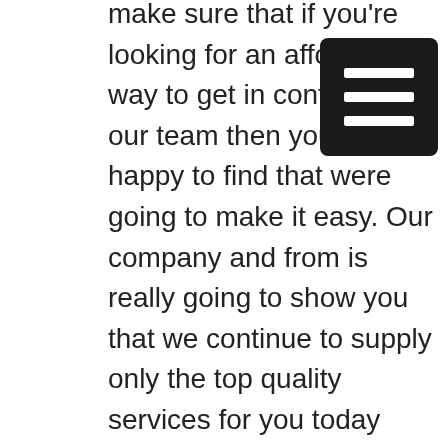make sure that if you're looking for an affordable way to get in contact with our team then your gonna happy to find that were going to make it easy. Our company and from is really going to show you that we continue to supply only the top quality services for you today when you're looking to find why choosing us or others is gonna be easy today. Is gonna be so easy for you to find that our company to is really can be everything that you really can it be happy with today.
[Figure (other): Dark square menu/hamburger icon with three horizontal white bars]
You'll be happy to find that were really going to give you a team in a company that really cares about being able to help you understand that if you're looking for quality that you're not gonna want to go anywhere else. That is our countertops and our services is really going to make sure were helping people get quality services from our company from our team today when you're looking to get in contact with us. We just want to give people a better